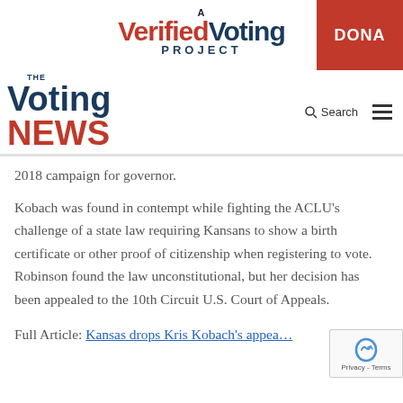A Verified Voting Project | DONATE
THE Voting NEWS | Search
2018 campaign for governor.
Kobach was found in contempt while fighting the ACLU's challenge of a state law requiring Kansans to show a birth certificate or other proof of citizenship when registering to vote. Robinson found the law unconstitutional, but her decision has been appealed to the 10th Circuit U.S. Court of Appeals.
Full Article: Kansas drops Kris Kobach's appea…